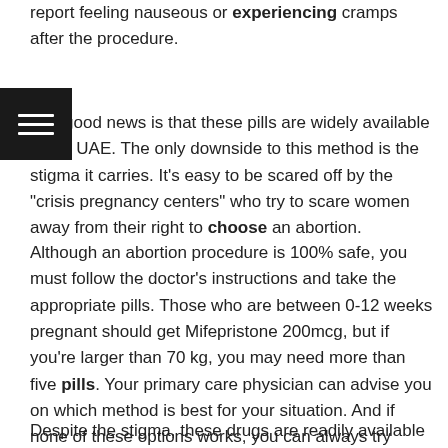report feeling nauseous or experiencing cramps after the procedure.
The good news is that these pills are widely available in the UAE. The only downside to this method is the stigma it carries. It’s easy to be scared off by the “crisis pregnancy centers” who try to scare women away from their right to choose an abortion.
Although an abortion procedure is 100% safe, you must follow the doctor’s instructions and take the appropriate pills. Those who are between 0-12 weeks pregnant should get Mifepristone 200mcg, but if you’re larger than 70 kg, you may need more than five pills. Your primary care physician can advise you on which method is best for your situation. And if none of these options works, you can always try again in three days.
Despite the stigma, these drugs are readily available in the